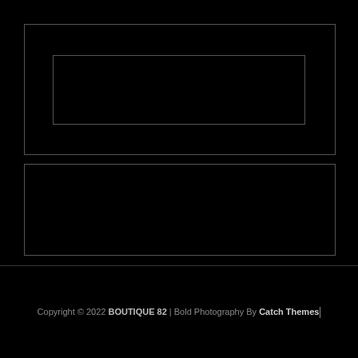[Figure (other): Black page with two outlined rectangles forming a nested frame UI layout. The top section contains a larger outer rectangle with a smaller inner rectangle centered within it. Below is a second standalone rectangle. Both against a black background.]
Copyright © 2022 BOUTIQUE 82 | Bold Photography By Catch Themes